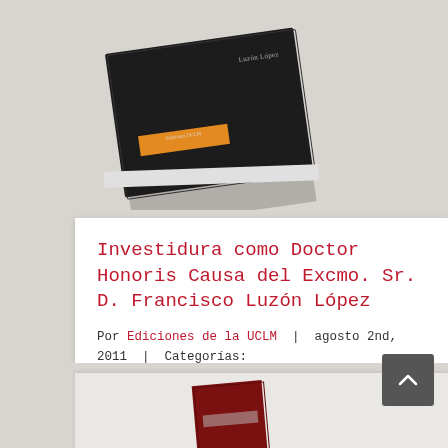[Figure (photo): A book with dark cover tilted at an angle on a light gray background, with an orange label strip visible on the spine area]
Investidura como Doctor Honoris Causa del Excmo. Sr. D. Francisco Luzón López
Por Ediciones de la UCLM | agosto 2nd, 2011 | Categorías: Economía, Finanzas, Honoris Causa | Etiquetas: economía
Más información
0
[Figure (photo): Bottom portion of another book with dark red/maroon cover on a light gray background]